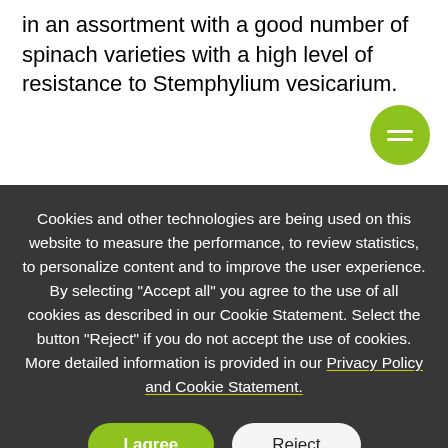in an assortment with a good number of spinach varieties with a high level of resistance to Stemphylium vesicarium.
Cookies and other technologies are being used on this website to measure the performance, to review statistics, to personalize content and to improve the user experience. By selecting "Accept all" you agree to the use of all cookies as described in our Cookie Statement. Select the button "Reject" if you do not accept the use of cookies. More detailed information is provided in our Privacy Policy and Cookie Statement.